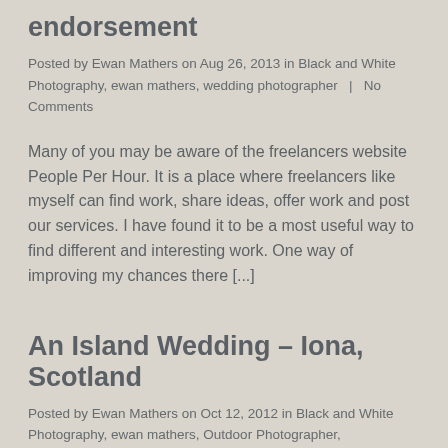endorsement
Posted by Ewan Mathers on Aug 26, 2013 in Black and White Photography, ewan mathers, wedding photographer  |  No Comments
Many of you may be aware of the freelancers website People Per Hour.  It is a place where freelancers like myself can find work, share ideas, offer work and post our services.  I have found it to be a most useful way to find different and interesting work.  One way of improving my chances there [...]
An Island Wedding – Iona, Scotland
Posted by Ewan Mathers on Oct 12, 2012 in Black and White Photography, ewan mathers, Outdoor Photographer, photography, wedding photographer  |  One Comment